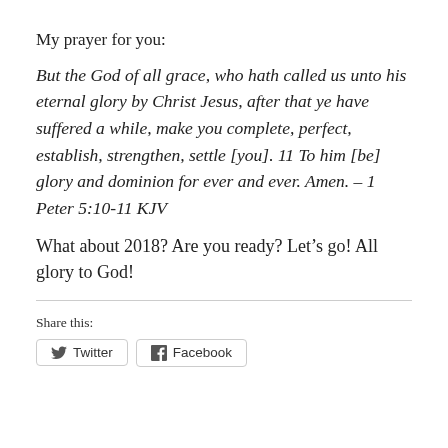My prayer for you:
But the God of all grace, who hath called us unto his eternal glory by Christ Jesus, after that ye have suffered a while, make you complete, perfect, establish, strengthen, settle [you]. 11 To him [be] glory and dominion for ever and ever. Amen. – 1 Peter 5:10-11 KJV
What about 2018? Are you ready? Let's go! All glory to God!
Share this:
Twitter  Facebook